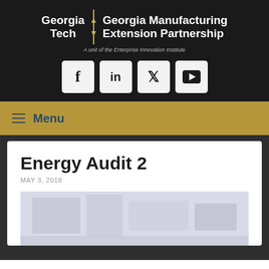[Figure (logo): Georgia Tech and Georgia Manufacturing Extension Partnership logo with divider, white text on dark background, and subtitle 'A unit of the Enterprise Innovation Institute']
[Figure (infographic): Row of four social media icon buttons (Facebook, LinkedIn, Twitter, YouTube) as light grey rounded squares on dark background]
≡ Menu
Energy Audit 2
MAY 3, 2018
[Figure (photo): Faded/washed out interior photo of what appears to be an industrial or office space]